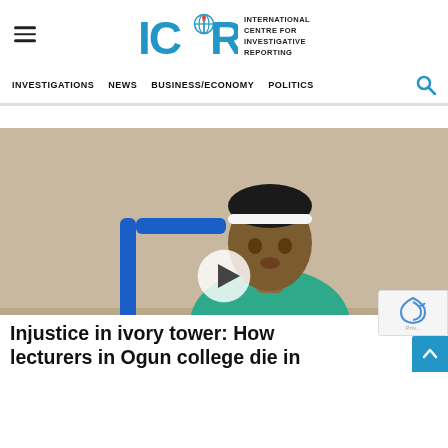ICIR - International Centre for Investigative Reporting
INVESTIGATIONS  NEWS  BUSINESS/ECONOMY  POLITICS
[Figure (photo): A young woman in a green top seated at a desk, video thumbnail with a play button overlay. Article thumbnail image for the ICIR investigative story.]
Injustice in ivory tower: How lecturers in Ogun college die in